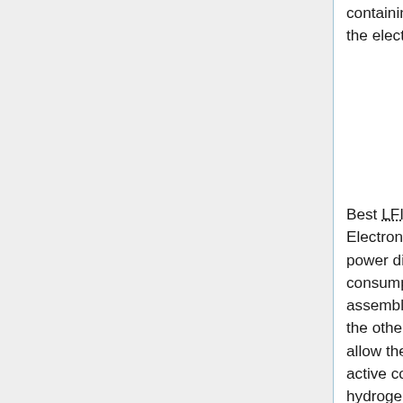containing a further radio frequency amplification stage, detector diodes and all the electronics for data acquisition and bias supply.
Best LFI noise performance is obtained with receivers based on InP High Electron Mobility Transistor (HEMT) low noise amplifiers (LNAs) for minimal power dissipation and best performance. To further minimise power consumption in the focal plane, the radiometers are split into two sub-assemblies connected by waveguides, one located at the telescope focal area, the other on the 300 K portion of the Planck satellite. These design features allow the entire front-end LNAs dissipation to be <0.55 W, which enables the active cooling of the focal assembly. This is achieved with a vibration-less hydrogen sorption